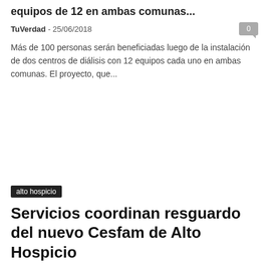equipos de 12 en ambas comunas...
TuVerdad - 25/06/2018
Más de 100 personas serán beneficiadas luego de la instalación de dos centros de diálisis con 12 equipos cada uno en ambas comunas. El proyecto, que...
alto hospicio
Servicios coordinan resguardo del nuevo Cesfam de Alto Hospicio